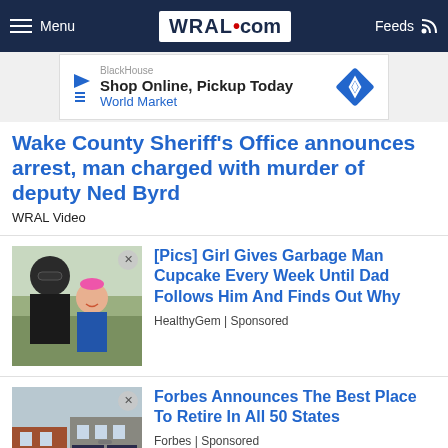Menu | WRAL.com | Feeds
[Figure (screenshot): Advertisement banner: Shop Online, Pickup Today - World Market]
Wake County Sheriff's Office announces arrest, man charged with murder of deputy Ned Byrd
WRAL Video
[Figure (photo): Photo of a man and a young girl smiling]
[Pics] Girl Gives Garbage Man Cupcake Every Week Until Dad Follows Him And Finds Out Why
HealthyGem | Sponsored
[Figure (photo): Photo of a small town street with brick buildings and pedestrians]
Forbes Announces The Best Place To Retire In All 50 States
Forbes | Sponsored